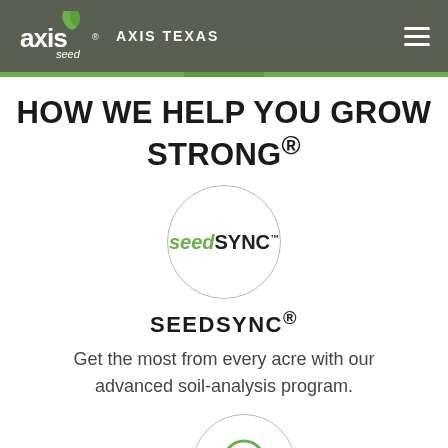AXIS TEXAS
HOW WE HELP YOU GROW STRONG®
[Figure (logo): SeedSync logo inside a light gray circle — green italic 'seed' + bold black 'SYNC' with registered trademark symbol]
SEEDSYNC®
Get the most from every acre with our advanced soil-analysis program.
[Figure (illustration): Location pin icon inside a light gray circle, and a gray Facebook circle button on the right]